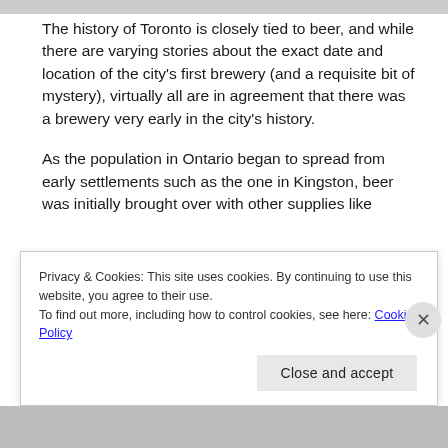[Figure (photo): Top image strip partially visible at top of page]
The history of Toronto is closely tied to beer, and while there are varying stories about the exact date and location of the city's first brewery (and a requisite bit of mystery), virtually all are in agreement that there was a brewery very early in the city's history.
As the population in Ontario began to spread from early settlements such as the one in Kingston, beer was initially brought over with other supplies like
Privacy & Cookies: This site uses cookies. By continuing to use this website, you agree to their use.
To find out more, including how to control cookies, see here: Cookie Policy
Close and accept
[Figure (photo): Bottom image strip partially visible at bottom of page]